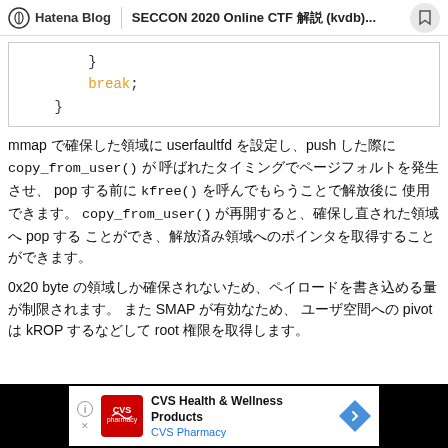Hatena Blog | SECCON 2020 Online CTF ??? (kvdb)...
}
        break;
    }
mmap ???????? userfaultfd ?????push ?? copy_from_user() ?? ?????? ???????????????? pop ??? kfree() ???????? ??????????????????? ????????? copy_from_user() ??????? ?????????????????? pop ?? ??????????????????????????????????????????????????
0x20 byte ??????????????????????????????????????? ?????? SMAP ???????? ???????? pivot ?? kROP ???? root ??????
CVS Health & Wellness Products - CVS Pharmacy